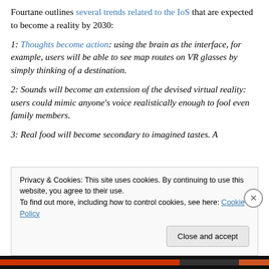Fourtane outlines several trends related to the IoS that are expected to become a reality by 2030:
1: Thoughts become action: using the brain as the interface, for example, users will be able to see map routes on VR glasses by simply thinking of a destination.
2: Sounds will become an extension of the devised virtual reality: users could mimic anyone’s voice realistically enough to fool even family members.
3: Real food will become secondary to imagined tastes. A
Privacy & Cookies: This site uses cookies. By continuing to use this website, you agree to their use.
To find out more, including how to control cookies, see here: Cookie Policy